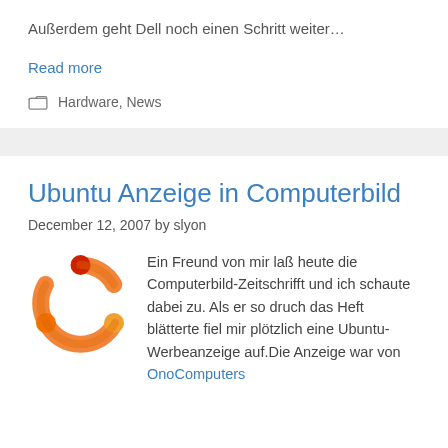Außerdem geht Dell noch einen Schritt weiter…
Read more
Hardware, News
Ubuntu Anzeige in Computerbild
December 12, 2007 by slyon
[Figure (logo): Ubuntu logo — orange circular design with a red dot at top]
Ein Freund von mir laß heute die Computerbild-Zeitschrifft und ich schaute dabei zu. Als er so druch das Heft blätterte fiel mir plötzlich eine Ubuntu-Werbeanzeige auf.Die Anzeige war von OnoComputers